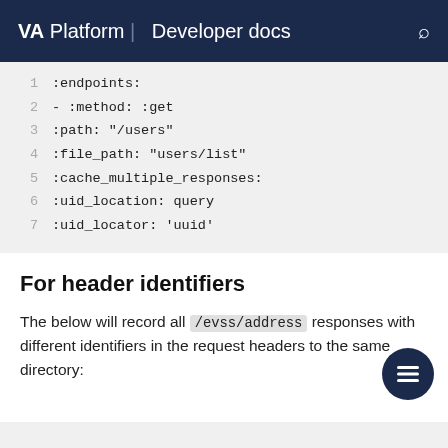VA Platform | Developer docs
[Figure (screenshot): Code block showing YAML configuration with 7 lines: :endpoints:, - :method: :get, :path: "/users", :file_path: "users/list", :cache_multiple_responses:, :uid_location: query, :uid_locator: 'uuid']
For header identifiers
The below will record all /evss/address responses with different identifiers in the request headers to the same directory: